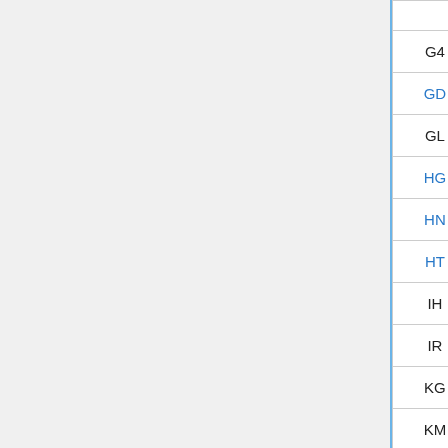| Code | Name | TD Reference |
| --- | --- | --- |
|  | WestCAD |  |
| G4 | WSSC Motherwell/Carstairs Area WestCAD |  |
| GD | Guildford | TD_WESS_ |
| GL | Gloucester ITD | TD_WWC_S |
| HG | Harrogate IECC | TD_LNE_N |
| HN | Heaton Norris | TD_LNW_C |
| HT | Havant | TD_WESS_ |
| IH | Inverness Highlands WestCAD |  |
| IR | Inverness RETB |  |
| KG | EMCC Kettering Area WestCAD |  |
| KM | EXROC Mid-Cornwall Workstation |  |
|  | WMROthing... |  |